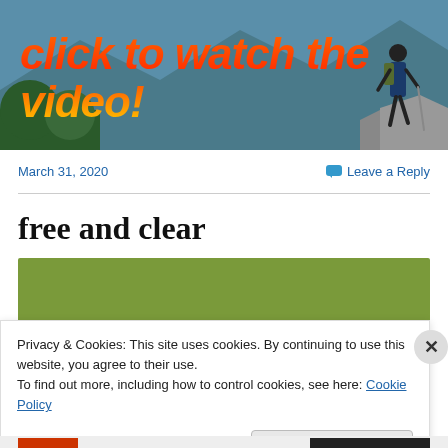[Figure (photo): Website banner with outdoor/hiking background scene and hiker silhouette on the right. Text overlay reads 'click to watch the video!' in large gradient orange-red italic bold font.]
March 31, 2020
Leave a Reply
free and clear
[Figure (photo): Green olive/army colored rectangular image block]
Privacy & Cookies: This site uses cookies. By continuing to use this website, you agree to their use.
To find out more, including how to control cookies, see here: Cookie Policy